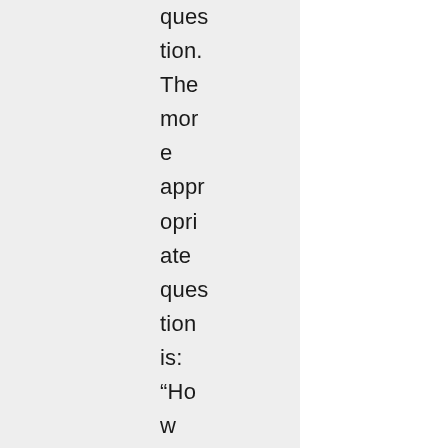question. The more appropriate question is: “How can I be a better member